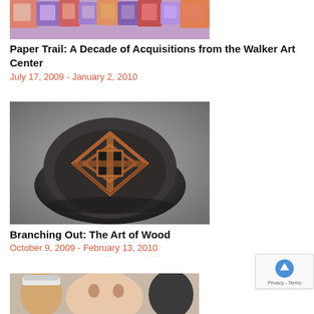[Figure (photo): Colorful patterned artwork — partial image at top of page]
Paper Trail: A Decade of Acquisitions from the Walker Art Center
July 17, 2009 - January 2, 2010
[Figure (photo): A decorative wooden bowl with geometric lattice pattern on top, sitting on a grey background]
Branching Out: The Art of Wood
October 9, 2009 - February 13, 2010
[Figure (photo): Partial image at bottom of page showing faces of people]